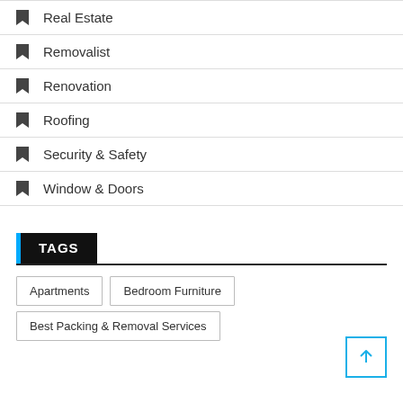Real Estate
Removalist
Renovation
Roofing
Security & Safety
Window & Doors
TAGS
Apartments
Bedroom Furniture
Best Packing & Removal Services